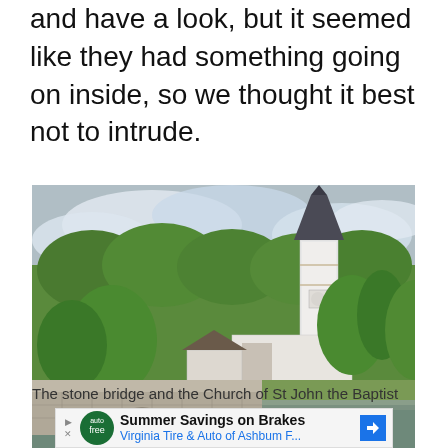and have a look, but it seemed like they had something going on inside, so we thought it best not to intrude.
[Figure (photo): A stone arch bridge over a shallow river with the Church of St John the Baptist and its white tower behind, surrounded by green trees and cloudy sky.]
The stone bridge and the Church of St John the Baptist
Summer Savings on Brakes Virginia Tire & Auto of Ashbum F...